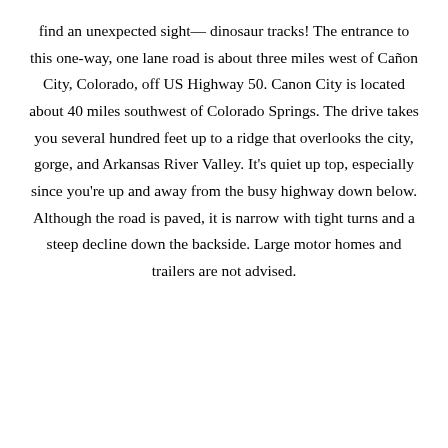find an unexpected sight— dinosaur tracks! The entrance to this one-way, one lane road is about three miles west of Cañon City, Colorado, off US Highway 50. Canon City is located about 40 miles southwest of Colorado Springs. The drive takes you several hundred feet up to a ridge that overlooks the city, gorge, and Arkansas River Valley. It's quiet up top, especially since you're up and away from the busy highway down below. Although the road is paved, it is narrow with tight turns and a steep decline down the backside. Large motor homes and trailers are not advised.